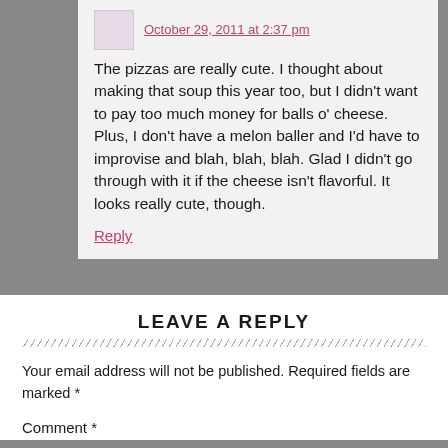October 29, 2011 at 2:37 pm
The pizzas are really cute. I thought about making that soup this year too, but I didn't want to pay too much money for balls o' cheese. Plus, I don't have a melon baller and I'd have to improvise and blah, blah, blah. Glad I didn't go through with it if the cheese isn't flavorful. It looks really cute, though.
Reply
LEAVE A REPLY
Your email address will not be published. Required fields are marked *
Comment *